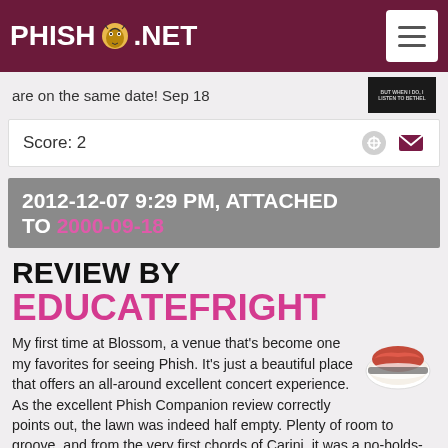PHISH.NET
are on the same date! Sep 18
Score: 2
2012-12-07 9:29 PM, ATTACHED TO 2000-09-18
REVIEW BY EDUCATEFRIGHT
My first time at Blossom, a venue that's become one my favorites for seeing Phish. It's just a beautiful place that offers an all-around excellent concert experience. As the excellent Phish Companion review correctly points out, the lawn was indeed half empty. Plenty of room to groove, and from the very first chords of Carini, it was a no-holds-barred dance fest. I thought it was